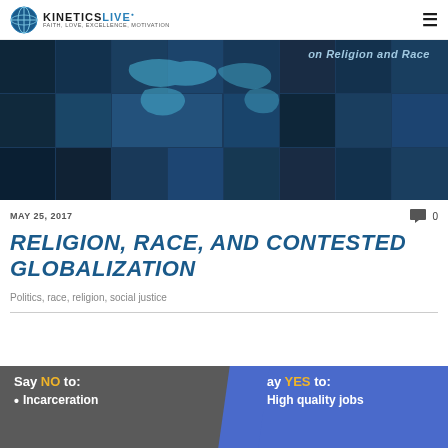KINETICSLIVE
[Figure (photo): Collage of diverse people's faces arranged in a grid with a world map overlay in blue tones, with text 'on Religion and Race' visible at top right]
MAY 25, 2017
RELIGION, RACE, AND CONTESTED GLOBALIZATION
Politics, race, religion, social justice
[Figure (infographic): Two-panel infographic: left grey panel says 'Say NO to: • Incarceration', right blue panel says 'Say YES to: • High quality jobs']